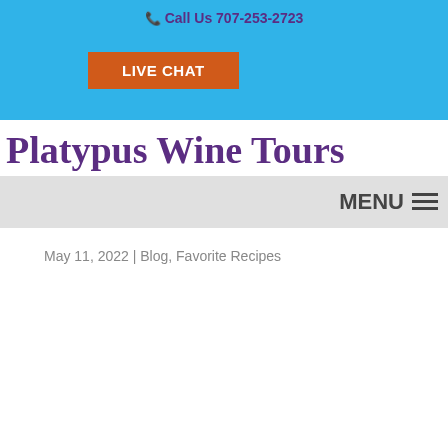Call Us 707-253-2723
[Figure (other): Live Chat button (orange button with white text 'LIVE CHAT')]
Platypus Wine Tours
MENU
May 11, 2022 | Blog, Favorite Recipes